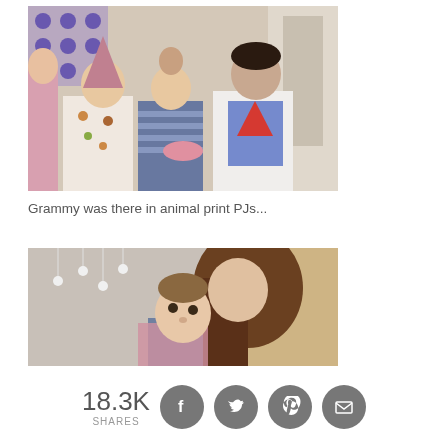Along with some friends.
[Figure (photo): Three young children at a birthday party indoors. A girl in a floral owl-print outfit wearing a purple party hat, a child in a striped shirt, and a boy in a superhero t-shirt.]
Grammy was there in animal print PJs...
[Figure (photo): A woman with long brown hair kissing a baby on the cheek, indoors with hanging lights in the background.]
18.3K SHARES